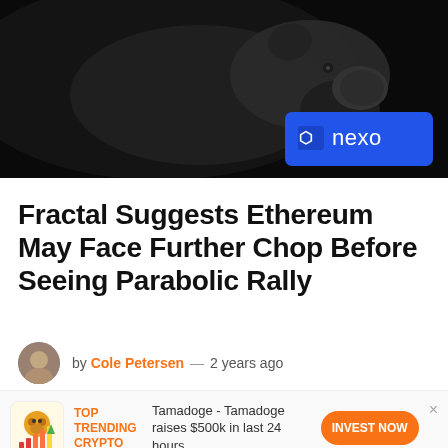[Figure (photo): Dark moody photo of a pig silhouette against black background, with Nexo blue brand badge overlay in bottom right]
Fractal Suggests Ethereum May Face Further Chop Before Seeing Parabolic Rally
by Cole Petersen — 2 years ago
[Figure (infographic): TOP TRENDING CRYPTO promotional banner with Tamadoge dog mascot icon, bar chart graphic, orange text, and INVEST NOW button. Text: Tamadoge - Tamadoge raises $500k in last 24 hours]